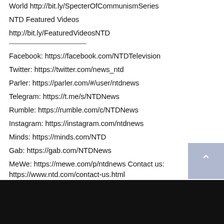World http://bit.ly/SpecterOfCommunismSeries
NTD Featured Videos
http://bit.ly/FeaturedVideosNTD
Facebook: https://facebook.com/NTDTelevision
Twitter: https://twitter.com/news_ntd
Parler: https://parler.com/#/user/ntdnews
Telegram: https://t.me/s/NTDNews
Rumble: https://rumble.com/c/NTDNews
Instagram: https://instagram.com/ntdnews
Minds: https://minds.com/NTD
Gab: https://gab.com/NTDNews
MeWe: https://mewe.com/p/ntdnews Contact us: https://www.ntd.com/contact-us.html
[Figure (photo): Dark image bar at bottom of page, appears to be a video thumbnail]